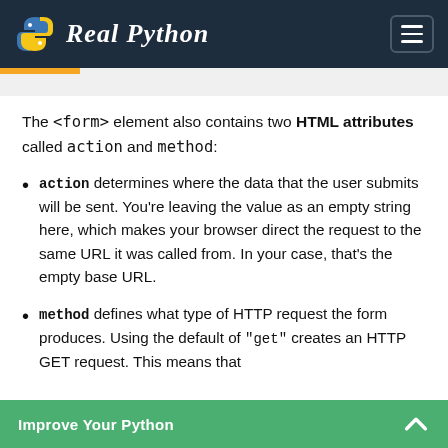Real Python
The <form> element also contains two HTML attributes called action and method:
action determines where the data that the user submits will be sent. You’re leaving the value as an empty string here, which makes your browser direct the request to the same URL it was called from. In your case, that’s the empty base URL.
method defines what type of HTTP request the form produces. Using the default of "get" creates an HTTP GET request. This means that
Improve Your Python